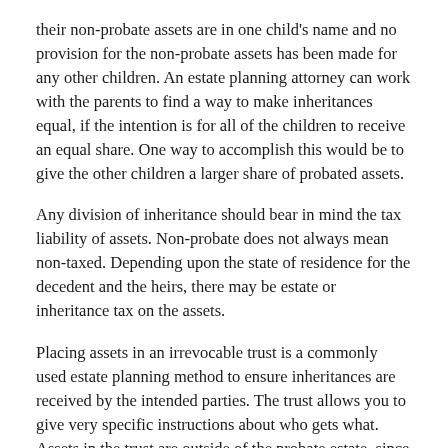their non-probate assets are in one child's name and no provision for the non-probate assets has been made for any other children. An estate planning attorney can work with the parents to find a way to make inheritances equal, if the intention is for all of the children to receive an equal share. One way to accomplish this would be to give the other children a larger share of probated assets.
Any division of inheritance should bear in mind the tax liability of assets. Non-probate does not always mean non-taxed. Depending upon the state of residence for the decedent and the heirs, there may be estate or inheritance tax on the assets.
Placing assets in an irrevocable trust is a commonly used estate planning method to ensure inheritances are received by the intended parties. The trust allows you to give very specific instructions about who gets what. Assets in the trust are outside of the probate estate, since the trust is not owned by the grantor.